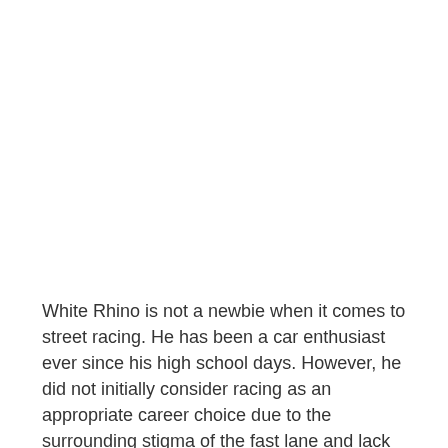White Rhino is not a newbie when it comes to street racing. He has been a car enthusiast ever since his high school days. However, he did not initially consider racing as an appropriate career choice due to the surrounding stigma of the fast lane and lack of potential earning opportunity. However, his lifelong